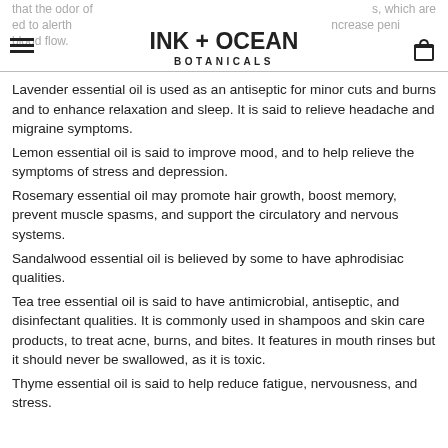INK + OCEAN BOTANICALS
that the odor of
s, which are
ed to alert th
ncrease peni
blood flow.
Lavender essential oil is used as an antiseptic for minor cuts and burns and to enhance relaxation and sleep. It is said to relieve headache and migraine symptoms.
Lemon essential oil is said to improve mood, and to help relieve the symptoms of stress and depression.
Rosemary essential oil may promote hair growth, boost memory, prevent muscle spasms, and support the circulatory and nervous systems.
Sandalwood essential oil is believed by some to have aphrodisiac qualities.
Tea tree essential oil is said to have antimicrobial, antiseptic, and disinfectant qualities. It is commonly used in shampoos and skin care products, to treat acne, burns, and bites. It features in mouth rinses but it should never be swallowed, as it is toxic.
Thyme essential oil is said to help reduce fatigue, nervousness, and stress.